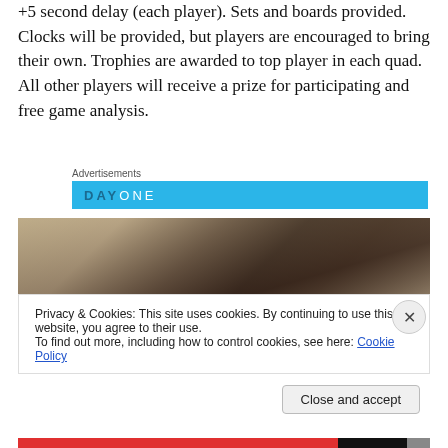+5 second delay (each player). Sets and boards provided. Clocks will be provided, but players are encouraged to bring their own. Trophies are awarded to top player in each quad. All other players will receive a prize for participating and free game analysis.
Advertisements
[Figure (screenshot): DAY ONE advertisement banner in blue]
[Figure (photo): Photo of person at chess board/event]
Privacy & Cookies: This site uses cookies. By continuing to use this website, you agree to their use.
To find out more, including how to control cookies, see here: Cookie Policy
Close and accept